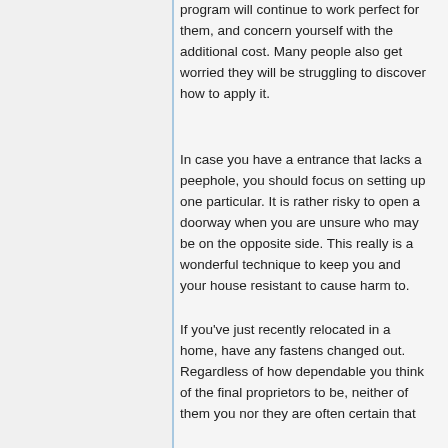program will continue to work perfect for them, and concern yourself with the additional cost. Many people also get worried they will be struggling to discover how to apply it.
In case you have a entrance that lacks a peephole, you should focus on setting up one particular. It is rather risky to open a doorway when you are unsure who may be on the opposite side. This really is a wonderful technique to keep you and your house resistant to cause harm to.
If you've just recently relocated in a home, have any fastens changed out. Regardless of how dependable you think of the final proprietors to be, neither of them you nor they are often certain that